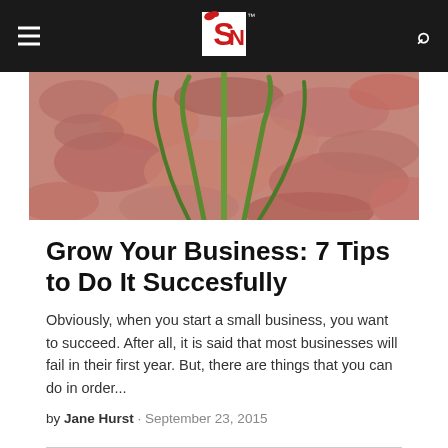SN (logo)
[Figure (photo): Close-up photo of green plant shoots growing up through dried autumn leaves in shades of red, brown, and pink]
Grow Your Business: 7 Tips to Do It Succesfully
Obviously, when you start a small business, you want to succeed. After all, it is said that most businesses will fail in their first year. But, there are things that you can do in order...
by Jane Hurst · September 23, 2015